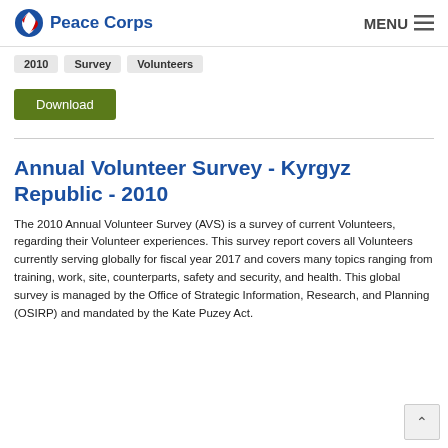Peace Corps | MENU
2010
Survey
Volunteers
Download
Annual Volunteer Survey - Kyrgyz Republic - 2010
The 2010 Annual Volunteer Survey (AVS) is a survey of current Volunteers, regarding their Volunteer experiences. This survey report covers all Volunteers currently serving globally for fiscal year 2017 and covers many topics ranging from training, work, site, counterparts, safety and security, and health. This global survey is managed by the Office of Strategic Information, Research, and Planning (OSIRP) and mandated by the Kate Puzey Act.